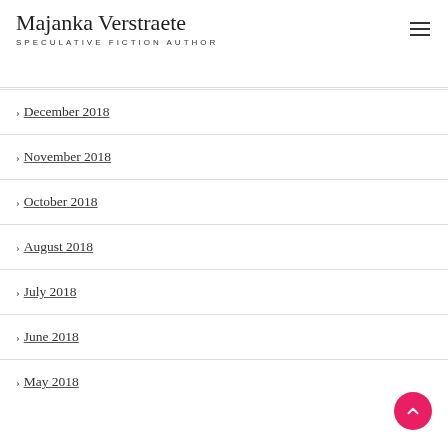Majanka Verstraete — SPECULATIVE FICTION AUTHOR
> December 2018
> November 2018
> October 2018
> August 2018
> July 2018
> June 2018
> May 2018